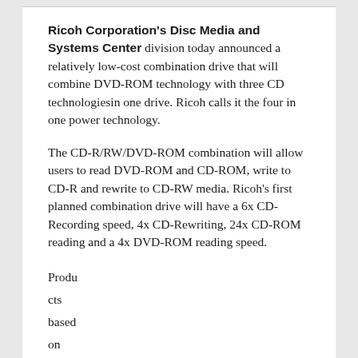Ricoh Corporation's Disc Media and Systems Center division today announced a relatively low-cost combination drive that will combine DVD-ROM technology with three CD technologiesin one drive. Ricoh calls it the four in one power technology.
The CD-R/RW/DVD-ROM combination will allow users to read DVD-ROM and CD-ROM, write to CD-R and rewrite to CD-RW media. Ricoh's first planned combination drive will have a 6x CD-Recording speed, 4x CD-Rewriting, 24x CD-ROM reading and a 4x DVD-ROM reading speed.
Products
cts
based
on
the
techn